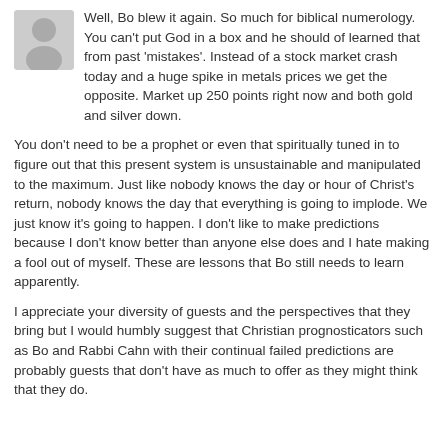[Figure (illustration): Generic gray user avatar silhouette icon]
Well, Bo blew it again. So much for biblical numerology. You can't put God in a box and he should of learned that from past 'mistakes'. Instead of a stock market crash today and a huge spike in metals prices we get the opposite. Market up 250 points right now and both gold and silver down.

You don't need to be a prophet or even that spiritually tuned in to figure out that this present system is unsustainable and manipulated to the maximum. Just like nobody knows the day or hour of Christ's return, nobody knows the day that everything is going to implode. We just know it's going to happen. I don't like to make predictions because I don't know better than anyone else does and I hate making a fool out of myself. These are lessons that Bo still needs to learn apparently.

I appreciate your diversity of guests and the perspectives that they bring but I would humbly suggest that Christian prognosticators such as Bo and Rabbi Cahn with their continual failed predictions are probably guests that don't have as much to offer as they might think that they do.